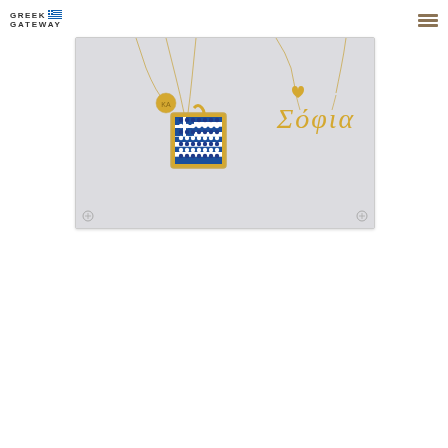GREEK GATEWAY
[Figure (photo): Gold jewelry display on a white/gray background showing multiple necklaces: a square pendant with blue and white Greek flag mosaic design made of gemstones, a cursive name necklace reading 'Sofia' in Greek script (Σόφια), a small circular coin pendant, and other gold chain necklaces arranged on a light gray surface.]